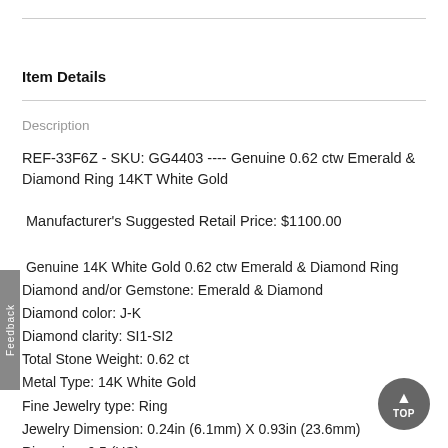Item Details
Description
REF-33F6Z - SKU: GG4403 ---- Genuine 0.62 ctw Emerald & Diamond Ring 14KT White Gold
Manufacturer's Suggested Retail Price: $1100.00
Genuine 14K White Gold 0.62 ctw Emerald & Diamond Ring
Diamond and/or Gemstone: Emerald & Diamond
Diamond color: J-K
Diamond clarity: SI1-SI2
Total Stone Weight: 0.62 ct
Metal Type: 14K White Gold
Fine Jewelry type: Ring
Jewelry Dimension: 0.24in (6.1mm) X 0.93in (23.6mm)
Ring size: 6.5 (US)